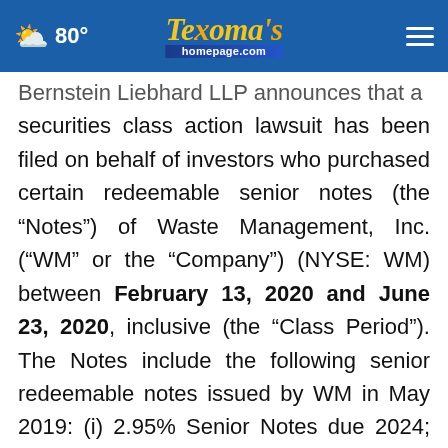80° | Texoma's homepage.com
Bernstein Liebhard LLP announces that a securities class action lawsuit has been filed on behalf of investors who purchased certain redeemable senior notes (the "Notes") of Waste Management, Inc. ("WM" or the "Company") (NYSE: WM) between February 13, 2020 and June 23, 2020, inclusive (the "Class Period"). The Notes include the following senior redeemable notes issued by WM in May 2019: (i) 2.95% Senior Notes due 2024; (ii) 3.20% Senior Notes due 2026; (iii) 3.45% Senior Notes due 2029; and (iv) 4.00% Senior Notes due 2039. The